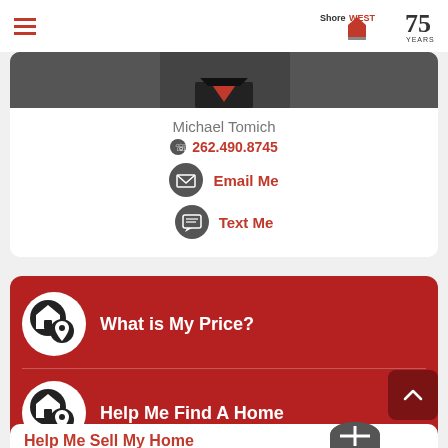ShoreWest 75 Years
Michael Tomich
262.490.8745
Email Me
Text Me
What is My Price?
Help Me Find A Home
Help Me Sell My Home